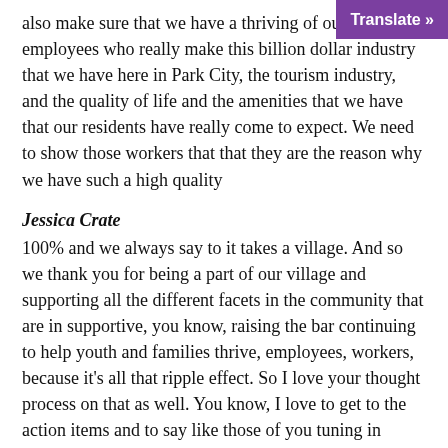also make sure that we have a thriving of our employees who really make this billion dollar industry that we have here in Park City, the tourism industry, and the quality of life and the amenities that we have that our residents have really come to expect. We need to show those workers that that they are the reason why we have such a high quality
Jessica Crate
100% and we always say to it takes a village. And so we thank you for being a part of our village and supporting all the different facets in the community that are in supportive, you know, raising the bar continuing to help youth and families thrive, employees, workers, because it's all that ripple effect. So I love your thought process on that as well. You know, I love to get to the action items and to say like those of you tuning in listening in reading this watching this right now, what is one action item that someone can do Jennifer right now today, to foster their well being during this time and for